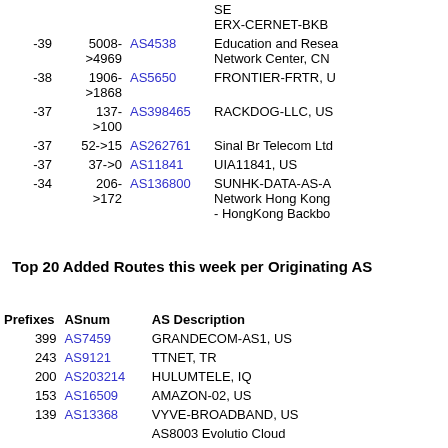|  | Prefixes | ASnum | AS Description |
| --- | --- | --- | --- |
|  | SE
ERX-CERNET-BKB |  |  |
| -39 | 5008->4969 | AS4538 | Education and Research Network Center, CN |
| -38 | 1906->1868 | AS5650 | FRONTIER-FRTR, U |
| -37 | 137->100 | AS398465 | RACKDOG-LLC, US |
| -37 | 52->15 | AS262761 | Sinal Br Telecom Ltd |
| -37 | 37->0 | AS11841 | UIA11841, US |
| -34 | 206->172 | AS136800 | SUNHK-DATA-AS-A Network Hong Kong - HongKong Backbo |
Top 20 Added Routes this week per Originating AS
| Prefixes | ASnum | AS Description |
| --- | --- | --- |
| 399 | AS7459 | GRANDECOM-AS1, US |
| 243 | AS9121 | TTNET, TR |
| 200 | AS203214 | HULUMTELE, IQ |
| 153 | AS16509 | AMAZON-02, US |
| 139 | AS13368 | VYVE-BROADBAND, US |
|  | AS8003 Evolutio Cloud |  |